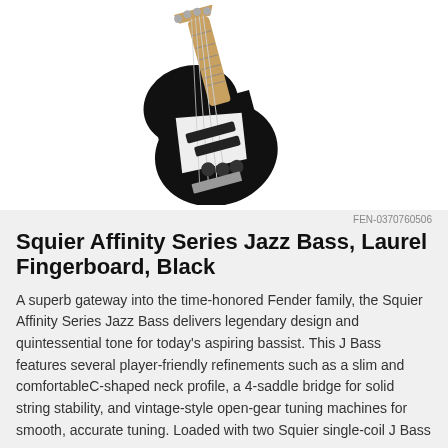[Figure (photo): Black Squier Affinity Series Jazz Bass electric bass guitar with white pickguard and laurel fingerboard, shown at an angle against a white background]
FEN-0370760506
Squier Affinity Series Jazz Bass, Laurel Fingerboard, Black
A superb gateway into the time-honored Fender family, the Squier Affinity Series Jazz Bass delivers legendary design and quintessential tone for today's aspiring bassist. This J Bass features several player-friendly refinements such as a slim and comfortableC-shaped neck profile, a 4-saddle bridge for solid string stability, and vintage-style open-gear tuning machines for smooth, accurate tuning. Loaded with two Squier single-coil J Bass